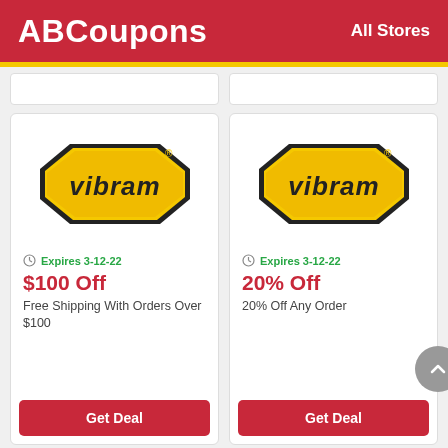ABCoupons   All Stores
[Figure (logo): Vibram yellow octagon logo]
Expires 3-12-22
$100 Off
Free Shipping With Orders Over $100
Get Deal
[Figure (logo): Vibram yellow octagon logo]
Expires 3-12-22
20% Off
20% Off Any Order
Get Deal